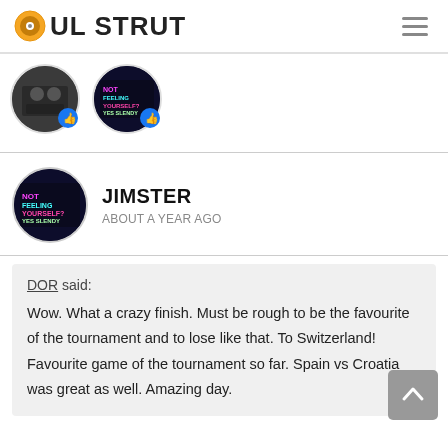SOUL STRUT
[Figure (photo): Two circular avatar images side by side, each with a thumbs-up like badge in the bottom right corner. Left avatar shows a dark photo of people; right avatar shows a neon-colored graphic reading 'NOT FEELING YOURSELF?']
JIMSTER
ABOUT A YEAR AGO
DOR said:
Wow. What a crazy finish. Must be rough to be the favourite of the tournament and to lose like that. To Switzerland! Favourite game of the tournament so far. Spain vs Croatia was great as well. Amazing day.